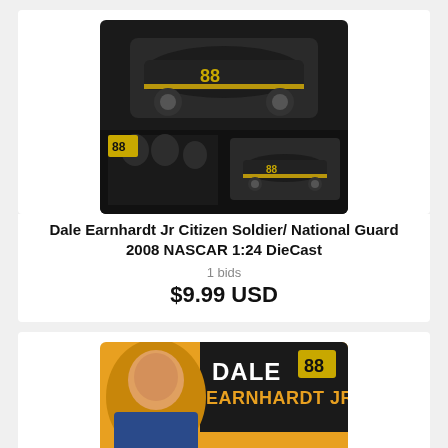[Figure (photo): Dale Earnhardt Jr Citizen Soldier National Guard NASCAR diecast car #88 in black with box]
Dale Earnhardt Jr Citizen Soldier/ National Guard 2008 NASCAR 1:24 DieCast
1 bids
$9.99 USD
[Figure (photo): Dale Earnhardt Jr. #88 Axalta Fix Auto 2017 SS 1:24 diecast car yellow with driver photo]
Dale Earnhardt Jr. #88 Axalta Fix Auto 2017 SS 1:24